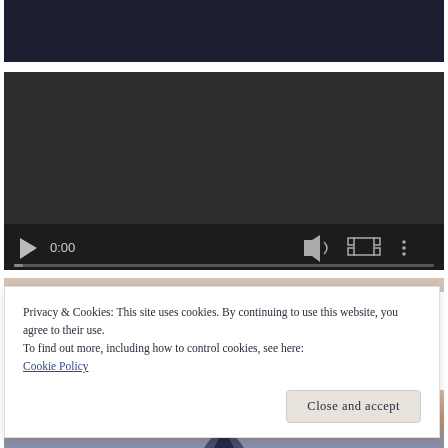[Figure (screenshot): Top dark image strip, partially visible, dark background]
[Figure (screenshot): Video player with dark background, showing 0:00 timestamp, play button, volume icon, fullscreen icon, and options icon. Progress bar at bottom.]
Privacy & Cookies: This site uses cookies. By continuing to use this website, you agree to their use.
To find out more, including how to control cookies, see here: Cookie Policy
Close and accept
[Figure (photo): Bottom image partially visible, showing gradient sky with reddish/pink tones]